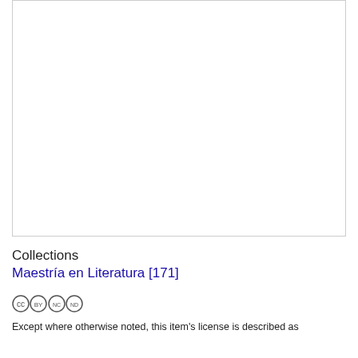[Figure (other): Blank white thumbnail/preview box with a light gray border]
Collections
Maestría en Literatura [171]
[Figure (logo): Creative Commons BY-NC-ND license icon]
Except where otherwise noted, this item's license is described as